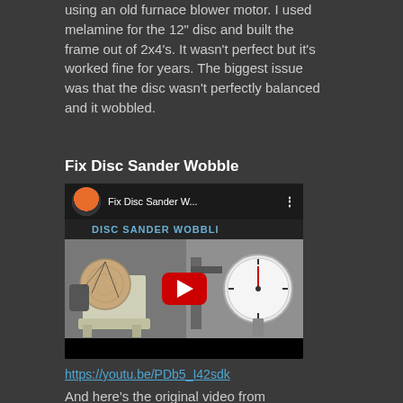using an old furnace blower motor.  I used melamine for the 12" disc and built the frame out of 2x4's.  It wasn't perfect but it's worked fine for years.  The biggest issue was that the disc wasn't perfectly balanced and it wobbled.
Fix Disc Sander Wobble
[Figure (screenshot): Embedded YouTube video thumbnail showing 'Fix Disc Sander W...' with a disc sander on the left and a dial gauge on the right, with a red play button overlay]
https://youtu.be/PDb5_I42sdk
And here's the original video from